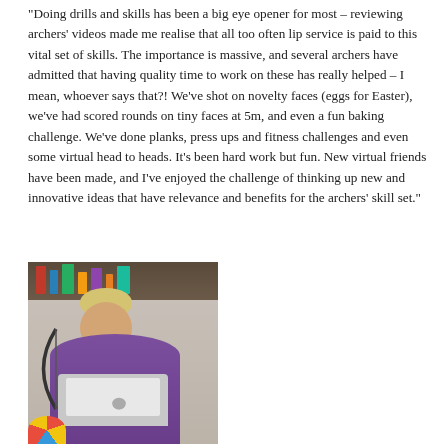“Doing drills and skills has been a big eye opener for most – reviewing archers’ videos made me realise that all too often lip service is paid to this vital set of skills. The importance is massive, and several archers have admitted that having quality time to work on these has really helped – I mean, whoever says that?! We’ve shot on novelty faces (eggs for Easter), we’ve had scored rounds on tiny faces at 5m, and even a fun baking challenge. We’ve done planks, press ups and fitness challenges and even some virtual head to heads. It’s been hard work but fun. New virtual friends have been made, and I’ve enjoyed the challenge of thinking up new and innovative ideas that have relevance and benefits for the archers’ skill set.”
[Figure (photo): A woman with short blonde hair wearing a purple sports shirt, sitting at a desk holding a bow in one hand and working on a MacBook laptop, with bookshelves visible in the background and an archery target in the foreground.]